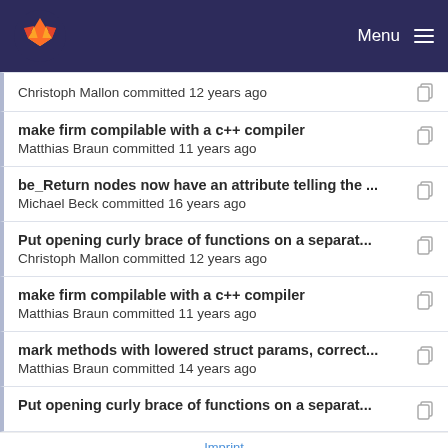GitLab — Menu
Christoph Mallon committed 12 years ago
make firm compilable with a c++ compiler
Matthias Braun committed 11 years ago
be_Return nodes now have an attribute telling the ...
Michael Beck committed 16 years ago
Put opening curly brace of functions on a separat...
Christoph Mallon committed 12 years ago
make firm compilable with a c++ compiler
Matthias Braun committed 11 years ago
mark methods with lowered struct params, correct...
Matthias Braun committed 14 years ago
Put opening curly brace of functions on a separat...
Imprint